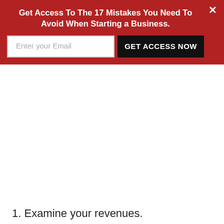Get Access To The 17 Mistakes You Need To Avoid When Starting a Business.
Enter your Email
GET ACCESS NOW
1. Examine your revenues.